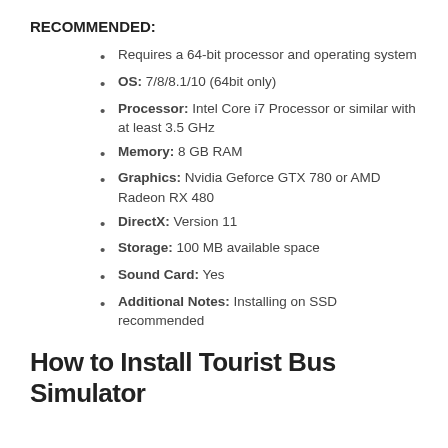RECOMMENDED:
Requires a 64-bit processor and operating system
OS: 7/8/8.1/10 (64bit only)
Processor: Intel Core i7 Processor or similar with at least 3.5 GHz
Memory: 8 GB RAM
Graphics: Nvidia Geforce GTX 780 or AMD Radeon RX 480
DirectX: Version 11
Storage: 100 MB available space
Sound Card: Yes
Additional Notes: Installing on SSD recommended
How to Install Tourist Bus Simulator